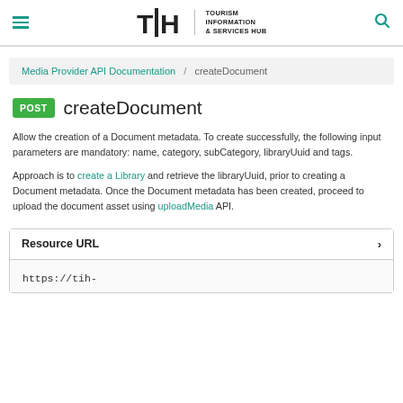Tourism Information & Services Hub
Media Provider API Documentation / createDocument
POST createDocument
Allow the creation of a Document metadata. To create successfully, the following input parameters are mandatory: name, category, subCategory, libraryUuid and tags.
Approach is to create a Library and retrieve the libraryUuid, prior to creating a Document metadata. Once the Document metadata has been created, proceed to upload the document asset using uploadMedia API.
Resource URL
https://tih-